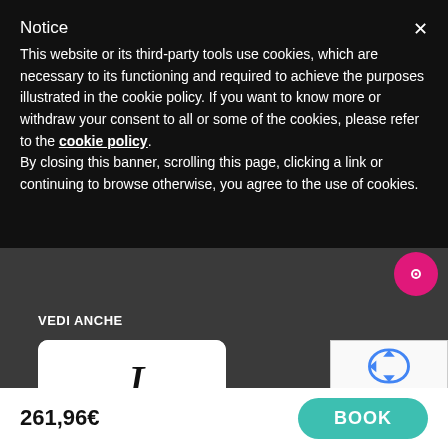Notice
This website or its third-party tools use cookies, which are necessary to its functioning and required to achieve the purposes illustrated in the cookie policy. If you want to know more or withdraw your consent to all or some of the cookies, please refer to the cookie policy. By closing this banner, scrolling this page, clicking a link or continuing to browse otherwise, you agree to the use of cookies.
VEDI ANCHE
[Figure (logo): JUICEGLAM DESIGN logo with stylized J and yellow-green dot]
[Figure (other): Google reCAPTCHA widget showing Privacy and Terms links]
261,96€
BOOK